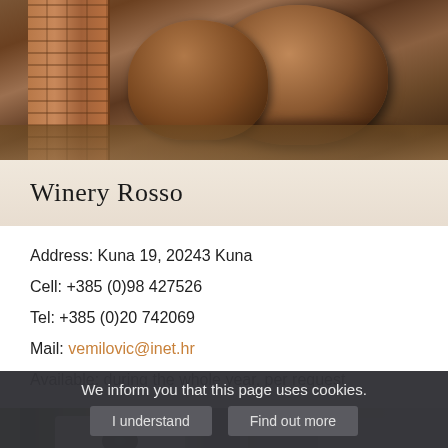[Figure (photo): Interior of a wine cellar showing wooden barrels and a brick column, warm brown tones]
Winery Rosso
Address: Kuna 19, 20243 Kuna
Cell: +385 (0)98 427526
Tel: +385 (0)20 742069
Mail: vemilovic@inet.hr
Available: during the whole year, per request
[Figure (photo): Wine bottle labeled VRHUNSKO VINO with large letter D visible, next to a wine glass, greenish and grey tones]
We inform you that this page uses cookies.
I understand   Find out more